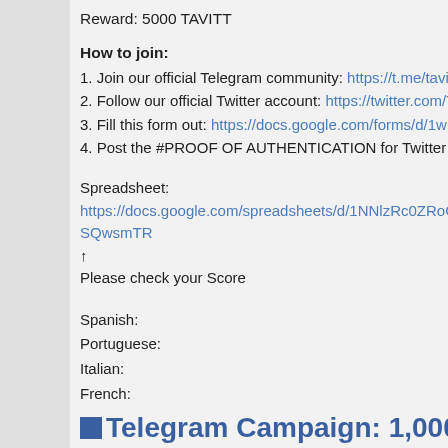Reward: 5000 TAVITT
How to join:
1. Join our official Telegram community: https://t.me/tavitt_official
2. Follow our official Twitter account: https://twitter.com/Tavitt_ICO
3. Fill this form out: https://docs.google.com/forms/d/1wMrN0_3fxsoB9rTMXbUqKX...
4. Post the #PROOF OF AUTHENTICATION for Twitter Translation BOUNTY in thi...
Spreadsheet: https://docs.google.com/spreadsheets/d/1NNlzRc0ZRoG-SQwsmTR...
↑
Please check your Score
Spanish:
Portuguese:
Italian:
French:
Russian:
Chinese:
Korean:
German:
Indonesian:
Arabic:
Dutch:
Vietnamese:
■Telegram Campaign: 1,000,000TAVITT